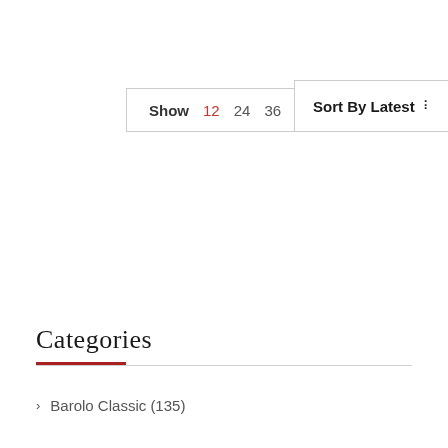Show 12 24 36
Sort By Latest ▾
Categories
> Barolo Classic (135)